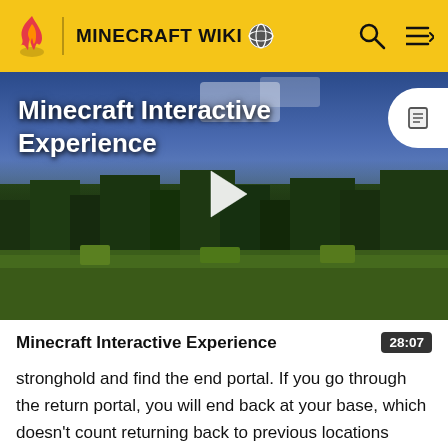MINECRAFT WIKI
[Figure (screenshot): Minecraft game screenshot showing a grass field with trees in the background, used as a video thumbnail. Title overlay reads 'Minecraft Interactive Experience'. A white play button triangle is centered on the image. A circular document/list icon button appears in the top-right corner.]
Minecraft Interactive Experience
28:07
stronghold and find the end portal. If you go through the return portal, you will end back at your base, which doesn't count returning back to previous locations